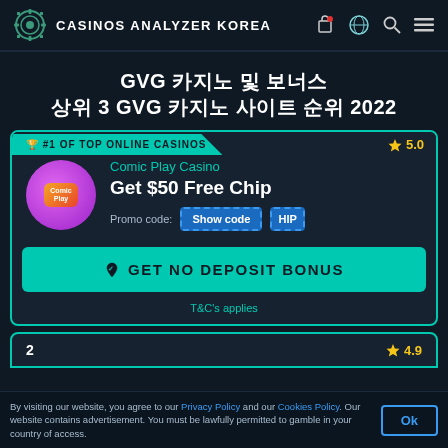CASINOS ANALYZER KOREA
GVG 카지노 및 보너스 상위 3 GVG 카지노 사이트 순위 2022
#1 OF TOP ONLINE CASINOS — Comic Play Casino — Get $50 Free Chip — Promo code: Show code — Rating: 5.0 — GET NO DEPOSIT BONUS — T&C's applies
2 — Rating: 4.9
By visiting our website, you agree to our Privacy Policy and our Cookies Policy. Our website contains advertisement. You must be lawfully permitted to gamble in your country of access.